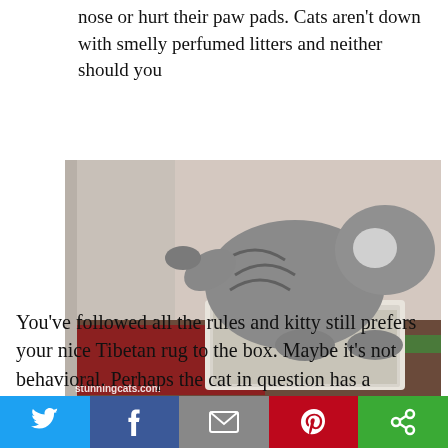nose or hurt their paw pads. Cats aren't down with smelly perfumed litters and neither should you
[Figure (photo): A grey tabby cat standing in a white litter box, with one paw raised, on a patterned rug near a wall. Watermark reads 'stunningcats.com'.]
Chizzy making a deposit in Banco Poopular in what should have been a private moment.
You've followed all the rules and kitty still prefers your nice Tibetan rug to the box. Maybe it's not behavioral. Perhaps the cat in question has a
Twitter | Facebook | Email | Pinterest | Other